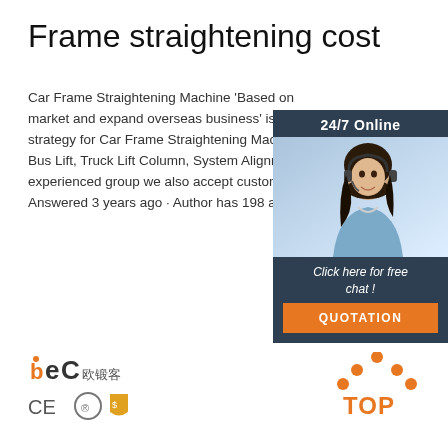Frame straightening cost
Car Frame Straightening Machine 'Based on market and expand overseas business' is our strategy for Car Frame Straightening Machine, Bus Lift, Truck Lift Column, System Alignment experienced group we also accept customize Answered 3 years ago · Author has 198 answers
[Figure (infographic): 24/7 Online chat widget with woman wearing headset, button: Click here for free chat!, QUOTATION button]
[Figure (logo): BEC logo with Chinese characters and CE certification icons]
[Figure (logo): TOP logo with orange dots/arrows icon]